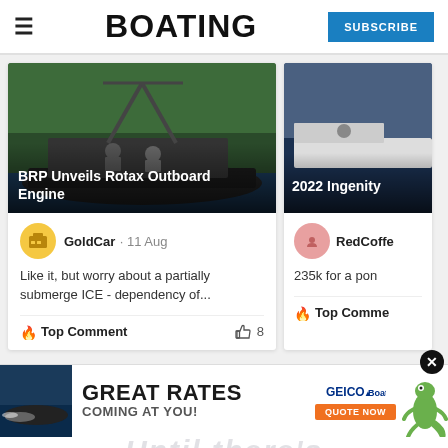BOATING
[Figure (screenshot): Screenshot of Boating magazine website showing article cards with comments. Left card: 'BRP Unveils Rotax Outboard Engine' with comment from GoldCar on 11 Aug: 'Like it, but worry about a partially submerge ICE - dependency of...' Top Comment, 8 likes. Right card partially visible: '2022 Ingenity' with comment from RedCoffe, '235k for a pon', Top Comment.]
[Figure (photo): Advertisement banner: GEICO BoatUS - GREAT RATES COMING AT YOU! QUOTE NOW with gecko mascot and boat image]